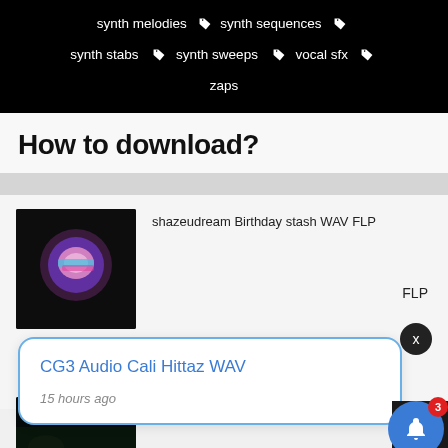synth melodies  synth sequences
synth stabs  synth sweeps  vocal sfx
zaps
How to download?
shazeudream Birthday stash WAV FLP
[Figure (photo): Album art thumbnail with pink/purple glowing circle on dark background]
CG3 Audio Cali Hittaz WAV   FLP
15 hours ago
[Figure (screenshot): Dark thumbnail image at bottom of page]